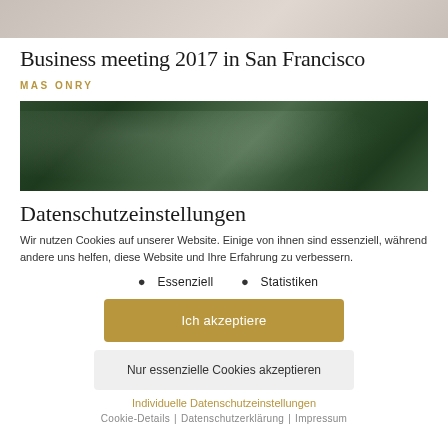[Figure (photo): Partial top image, blurred/greyed background photo visible at top]
Business meeting 2017 in San Francisco
MASONRY
[Figure (photo): Close-up photo of large green tropical leaves with water droplets]
Datenschutzeinstellungen
Wir nutzen Cookies auf unserer Website. Einige von ihnen sind essenziell, während andere uns helfen, diese Website und Ihre Erfahrung zu verbessern.
Essenziell
Statistiken
Ich akzeptiere
Nur essenzielle Cookies akzeptieren
Individuelle Datenschutzeinstellungen
Cookie-Details | Datenschutzerklärung | Impressum